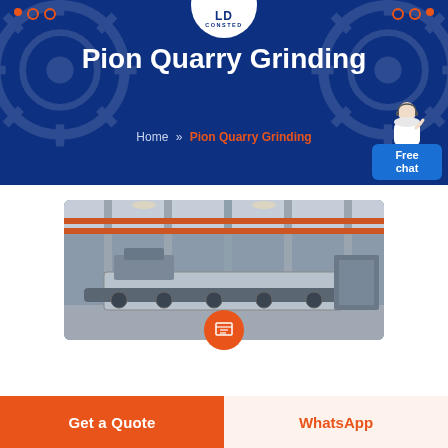CONSTED
Pion Quarry Grinding
Home >> Pion Quarry Grinding
[Figure (screenshot): Chat support widget showing a customer service person and 'Free chat' button]
[Figure (photo): Factory interior showing large quarry grinding machinery on a production floor]
Get a Quote
WhatsApp